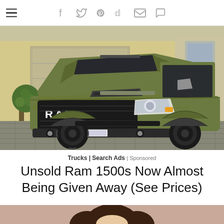≡  f  𝕎  𝓅  𝕕  ✉  💬
[Figure (photo): Matte olive green Ram 1500 pickup truck parked in a driveway with a potted topiary tree in the background]
Trucks | Search Ads | Sponsored
Unsold Ram 1500s Now Almost Being Given Away (See Prices)
[Figure (illustration): Partial illustration with a pinkish-brown background, showing the top of an illustrated character's head with dark hair]